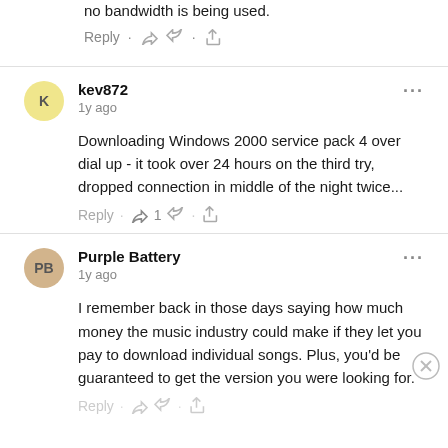no bandwidth is being used.
Reply
kev872
1y ago
Downloading Windows 2000 service pack 4 over dial up - it took over 24 hours on the third try, dropped connection in middle of the night twice...
Reply · 1
Purple Battery
1y ago
I remember back in those days saying how much money the music industry could make if they let you pay to download individual songs. Plus, you'd be guaranteed to get the version you were looking for.
Reply